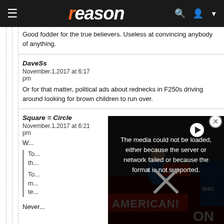reason
Good fodder for the true believers. Useless at convincing anybody of anything.
DaveSs
November.1.2017 at 6:17 pm

Or for that matter, political ads about rednecks in F250s driving around looking for brown children to run over.
Square = Circle
November.1.2017 at 6:21 pm
[Figure (screenshot): Video player error overlay showing protest rally image in background with message: The media could not be loaded, either because the server or network failed or because the format is not supported. An X close button and circular play button are visible.]
Never